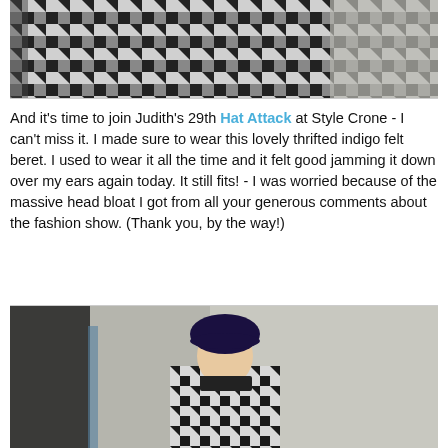[Figure (photo): Close-up photo of a black and white houndstooth pattern fabric/clothing item against a concrete wall background.]
And it's time to join Judith's 29th Hat Attack at Style Crone - I can't miss it. I made sure to wear this lovely thrifted indigo felt beret. I used to wear it all the time and it felt good jamming it down over my ears again today. It still fits! - I was worried because of the massive head bloat I got from all your generous comments about the fashion show. (Thank you, by the way!)
[Figure (photo): Photo of a woman wearing a dark indigo felt beret and a black and white houndstooth coat, standing in front of a concrete wall with architectural elements visible.]